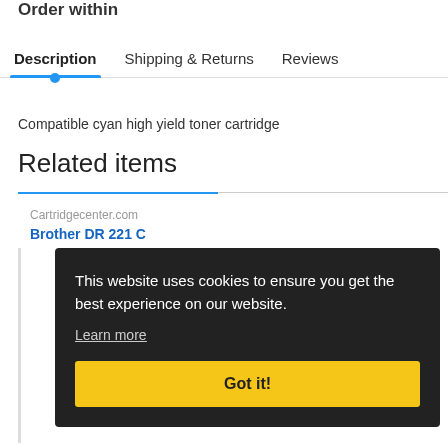Order within
Description
Shipping & Returns
Reviews
Compatible cyan high yield toner cartridge
Related items
Cartridgecenter.com
Brother DR 221 C
This website uses cookies to ensure you get the best experience on our website.
Learn more
Got it!